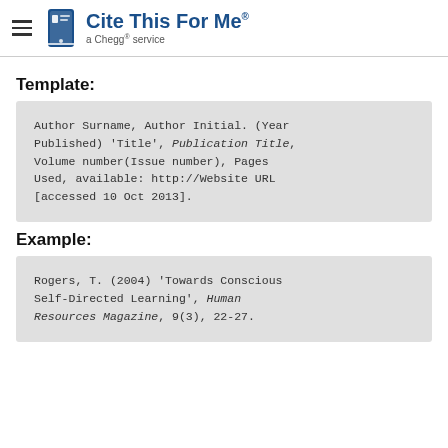Cite This For Me · a Chegg® service
Template:
Author Surname, Author Initial. (Year Published) 'Title', Publication Title, Volume number(Issue number), Pages Used, available: http://Website URL [accessed 10 Oct 2013].
Example:
Rogers, T. (2004) 'Towards Conscious Self-Directed Learning', Human Resources Magazine, 9(3), 22-27.